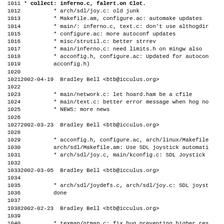Changelog entries from lines 1011-1043, showing git/CVS log entries for a software project (Inferno/SDL related), authored by Bradley Bell <btb@icculus.org>, with dates 2002-04-19, 2002-03-23, 2002-03-05, 2002-02-23